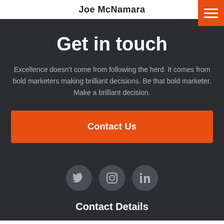Joe McNamara
Get in touch
Excellence doesn’t come from following the herd. It comes from bold marketers making brilliant decisions. Be that bold marketer. Make a brilliant decision.
Contact Us
[Figure (illustration): Three circular social media icons: Twitter, Instagram, LinkedIn]
Contact Details